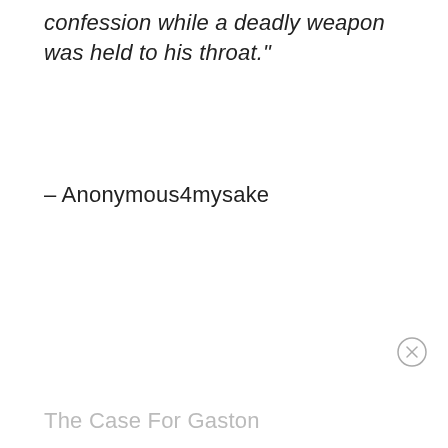confession while a deadly weapon was held to his throat."
– Anonymous4mysake
The Case For Gaston